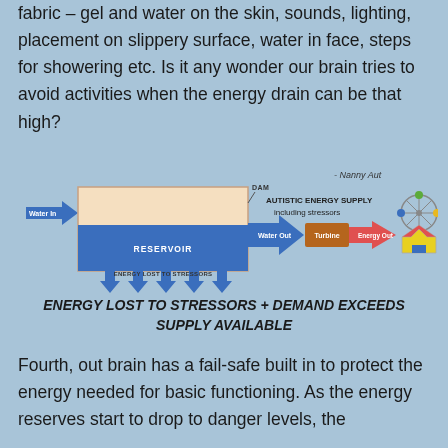fabric – gel and water on the skin, sounds, lighting, placement on slippery surface, water in face, steps for showering etc. Is it any wonder our brain tries to avoid activities when the energy drain can be that high?
[Figure (infographic): Diagram showing Autistic Energy Supply model. Water flows in (blue arrow labeled 'Water In') into a reservoir (beige box with blue water fill labeled 'RESERVOIR'). Below the reservoir are downward blue arrows labeled 'ENERGY LOST TO STRESSORS'. Water exits via a large blue arrow labeled 'Water Out' through a 'DAM' into a brown box labeled 'Turbine', then a red arrow labeled 'Energy Out' pointing to a fairground/carnival illustration. Above the diagram on the right: 'AUTISTIC ENERGY SUPPLY including stressors'. Attribution: '- Nanny Aut']
ENERGY LOST TO STRESSORS + DEMAND EXCEEDS SUPPLY AVAILABLE
Fourth, out brain has a fail-safe built in to protect the energy needed for basic functioning. As the energy reserves start to drop to danger levels, the